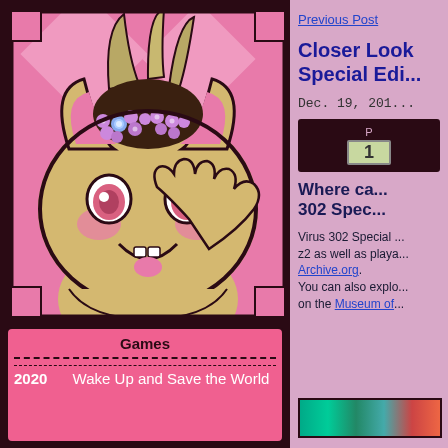[Figure (illustration): Cartoon creature with flower crown on pink background - trading card style illustration]
Games
2020   Wake Up and Save the World
Previous Post
Closer Look Special Edi...
Dec. 19, 201...
P
1
Where ca... 302 Spec...
Virus 302 Special ... z2 as well as playa... Archive.org. You can also explo... on the Museum of...
[Figure (screenshot): Colorful pixel art strip at bottom right]